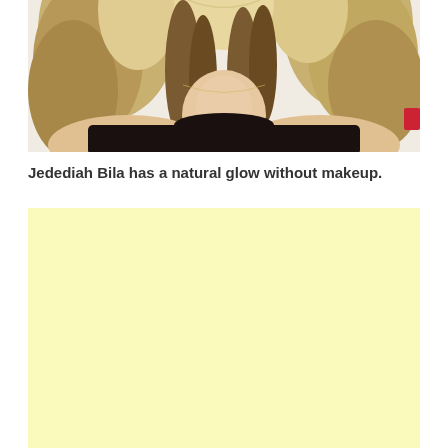[Figure (photo): A woman with long wavy highlighted hair wearing a black tank top, photographed from roughly chest/shoulders up, against a light background. A small red element is visible at the right edge.]
Jedediah Bila has a natural glow without makeup.
[Figure (other): A pale yellow advertisement block placeholder.]